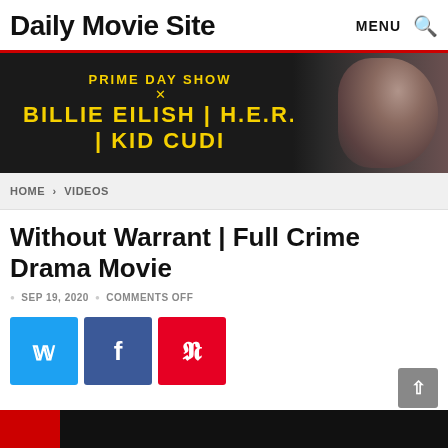Daily Movie Site
[Figure (illustration): Banner advertisement for Prime Day Show featuring Billie Eilish, H.E.R., and Kid Cudi with a person's face visible on the right side against a dark background]
HOME > VIDEOS
Without Warrant | Full Crime Drama Movie
SEP 19, 2020 • COMMENTS OFF
[Figure (illustration): Social share buttons: Twitter (blue), Facebook (dark blue), Pinterest (red)]
[Figure (screenshot): Bottom strip of a video thumbnail, dark background with red element visible]